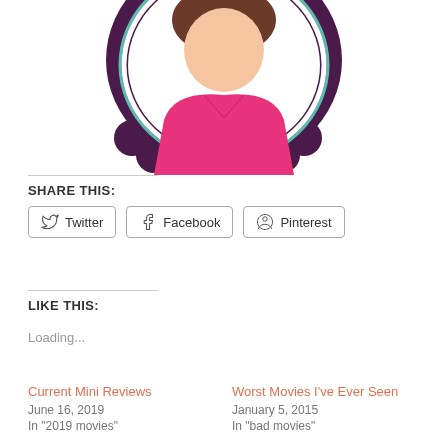[Figure (illustration): Partial view of a circular illustrated avatar/badge showing a person with pink clothing and brown hair on a dark purple decorative background, cropped at top]
SHARE THIS:
Twitter
Facebook
Pinterest
LIKE THIS:
Loading...
Current Mini Reviews
June 16, 2019
In "2019 movies"
Worst Movies I've Ever Seen
January 5, 2015
In "bad movies"